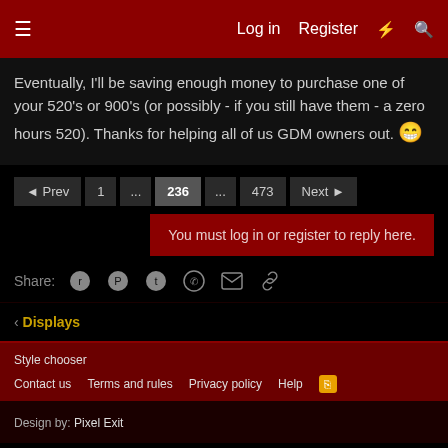Log in  Register
Eventually, I'll be saving enough money to purchase one of your 520's or 900's (or possibly - if you still have them - a zero hours 520). Thanks for helping all of us GDM owners out. 😁
◄ Prev  1  ...  236  ...  473  Next ►
You must log in or register to reply here.
Share:
< Displays
Style chooser  Contact us  Terms and rules  Privacy policy  Help
Design by: Pixel Exit